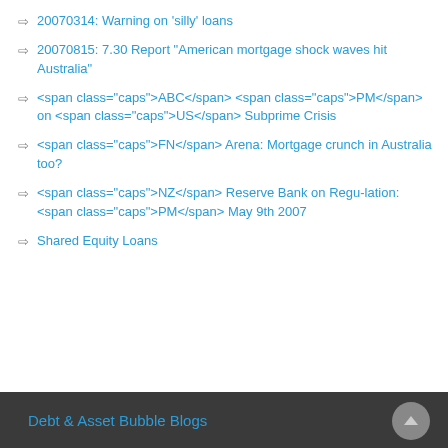20070314: Warning on ‘silly’ loans
20070815: 7.30 Report “American mortgage shock waves hit Australia”
<span class="caps">ABC</span> <span class="caps">PM</span> on <span class="caps">US</span> Subprime Crisis
<span class="caps">FN</span> Arena: Mortgage crunch in Australia too?
<span class="caps">NZ</span> Reserve Bank on Regu-lation: <span class="caps">PM</span> May 9th 2007
Shared Equity Loans
Debt & Asset Bubble Blogs